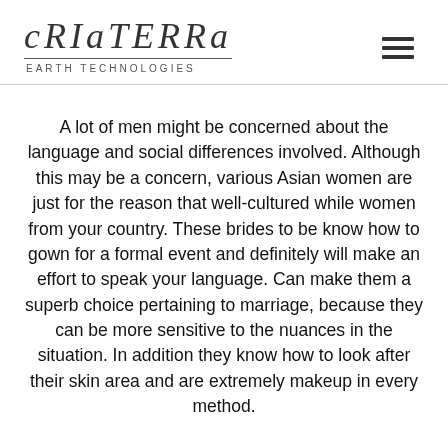CRIATERRA EARTH TECHNOLOGIES
A lot of men might be concerned about the language and social differences involved. Although this may be a concern, various Asian women are just for the reason that well-cultured while women from your country. These brides to be know how to gown for a formal event and definitely will make an effort to speak your language. Can make them a superb choice pertaining to marriage, because they can be more sensitive to the nuances in the situation. In addition they know how to look after their skin area and are extremely makeup in every method.